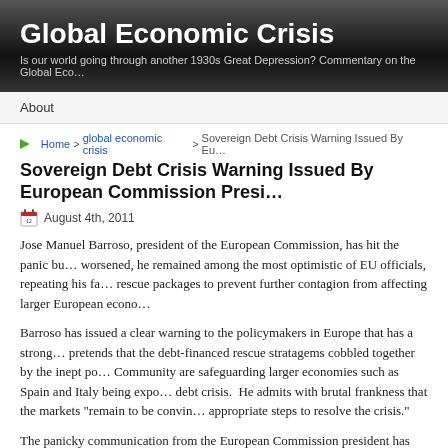Global Economic Crisis — Is our world going through another 1930s Great Depression? Commentary on the Global Economic Crisis
About
Home > global economic crisis > Sovereign Debt Crisis Warning Issued By European Commission Presi…
Sovereign Debt Crisis Warning Issued By European Commission Presi…
August 4th, 2011
Jose Manuel Barroso, president of the European Commission, has hit the panic bu… worsened, he remained among the most optimistic of EU officials, repeating his fa… rescue packages to prevent further contagion from affecting larger European econo…
Barroso has issued a clear warning to the policymakers in Europe that has a strong… pretends that the debt-financed rescue stratagems cobbled together by the inept po… Community are safeguarding larger economies such as Spain and Italy being expo… debt crisis. He admits with brutal frankness that the markets "remain to be convin… appropriate steps to resolve the crisis."
The panicky communication from the European Commission president has sparke… among stock markets across the globe, while leading gold to ascend to ever highe…